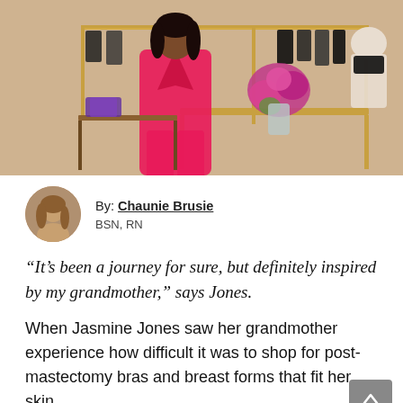[Figure (photo): Woman in a bright pink blazer suit sitting in a lingerie boutique store with clothing racks and a floral arrangement]
By: Chaunie Brusie
BSN, RN
“It's been a journey for sure, but definitely inspired by my grandmother,” says Jones.
When Jasmine Jones saw her grandmother experience how difficult it was to shop for post-mastectomy bras and breast forms that fit her skin